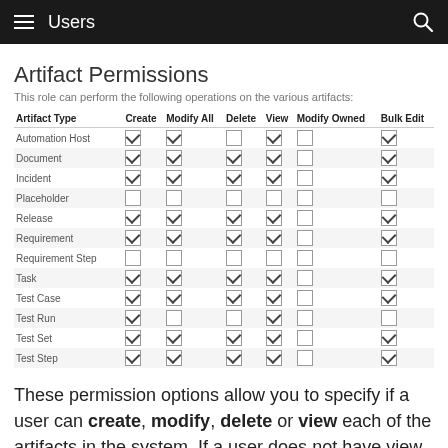Users
Artifact Permissions
This role can perform the following operations on the various artifacts:
| Artifact Type | Create | Modify All | Delete | View | Modify Owned | Bulk Edit |
| --- | --- | --- | --- | --- | --- | --- |
| Automation Host | ☑ | ☑ | ☐ | ☑ | ☐ | ☑ |
| Document | ☑ | ☑ | ☑ | ☑ | ☐ | ☑ |
| Incident | ☑ | ☑ | ☑ | ☑ | ☐ | ☑ |
| Placeholder | ☐ | ☐ | ☐ | ☐ | ☐ | ☐ |
| Release | ☑ | ☑ | ☑ | ☑ | ☐ | ☑ |
| Requirement | ☑ | ☑ | ☑ | ☑ | ☐ | ☑ |
| Requirement Step | ☐ | ☐ | ☐ | ☐ | ☐ | ☐ |
| Task | ☑ | ☑ | ☑ | ☑ | ☐ | ☑ |
| Test Case | ☑ | ☑ | ☑ | ☑ | ☐ | ☑ |
| Test Run | ☑ | ☐ | ☐ | ☑ | ☐ | ☐ |
| Test Set | ☑ | ☑ | ☑ | ☑ | ☐ | ☑ |
| Test Step | ☑ | ☑ | ☑ | ☑ | ☐ | ☑ |
These permission options allow you to specify if a user can create, modify, delete or view each of the artifacts in the system. If a user does not have view permissions for the artifact then they are automatically hidden in the system will